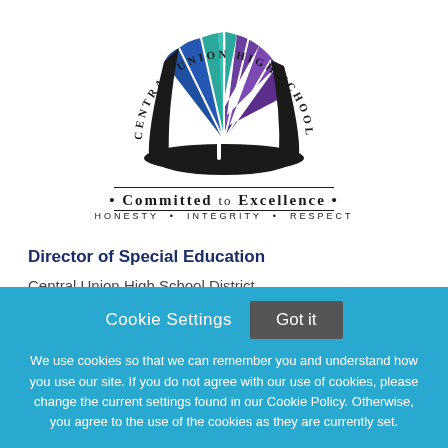[Figure (logo): Central Union High School District logo — open book with colored fan pages in blue, teal, and purple, circular text reading 'Central Union High School District', tagline 'Committed to Excellence' and 'Honesty • Integrity • Respect']
Director of Special Education
Central Union High School District
El Centro, California
Cookie Settings
Got it
We use cookies so that we can remember you and understand how you use our site. If you do not agree with our use of cookies, please change the current settings found in our Cookie Policy. Otherwise, you agree to the use of the cookies as they are currently set.